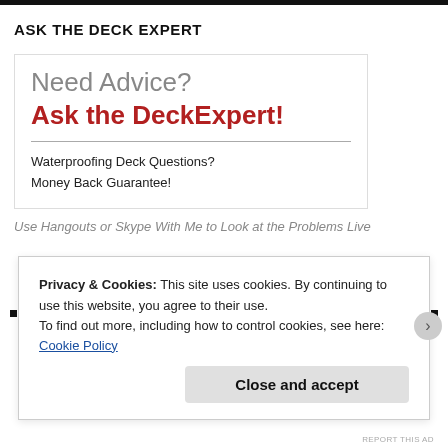ASK THE DECK EXPERT
[Figure (infographic): Ad box with 'Need Advice? Ask the DeckExpert!' heading, waterproofing deck questions and money back guarantee text]
Use Hangouts or Skype With Me to Look at the Problems Live
Privacy & Cookies: This site uses cookies. By continuing to use this website, you agree to their use.
To find out more, including how to control cookies, see here: Cookie Policy
Close and accept